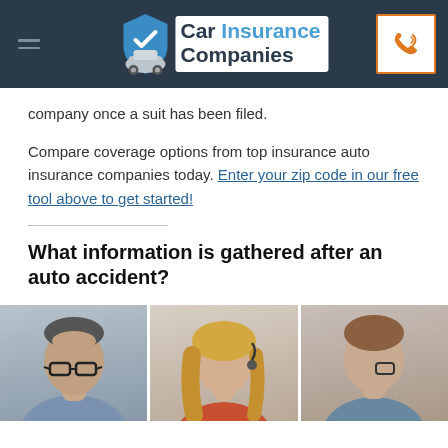Car Insurance Companies
company once a suit has been filed.
Compare coverage options from top insurance auto insurance companies today. Enter your zip code in our free tool above to get started!
What information is gathered after an auto accident?
[Figure (photo): Three people sitting together, appearing to discuss documents or information after an auto accident. Two individuals visible on left side (man with glasses, blonde woman), one person partially visible on right.]